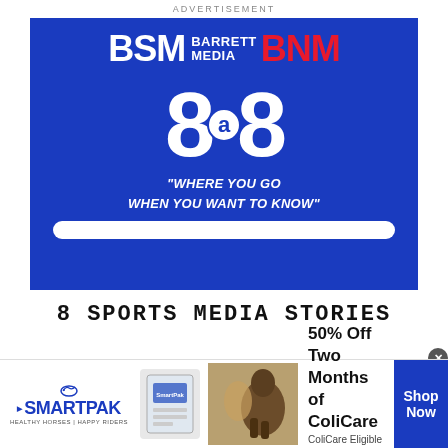ADVERTISEMENT
[Figure (logo): Barrett Sports Media / BNM advertisement featuring BSM Barrett Media BNM logo, large 8@8 branding, tagline 'WHERE YOU GO WHEN YOU WANT TO KNOW', and bulletin board text '8 SPORTS MEDIA STORIES DELIVERED BY 8AM ET']
[Figure (logo): SmartPak advertisement banner with logo, product image, horse photo, offer text '50% Off Two Months of ColiCare, ColiCare Eligible Supplements, CODE: COLICARE10', and Shop Now button]